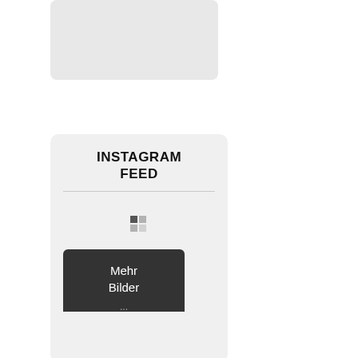[Figure (screenshot): Top grey widget placeholder box]
INSTAGRAM FEED
[Figure (screenshot): Small grid/mosaic icon representing Instagram feed thumbnails]
[Figure (screenshot): Dark grey button labeled 'Mehr Bilder' with ellipsis]
[Figure (screenshot): Blue button labeled with Instagram icon and 'Folge mir auf Instagram' with ellipsis]